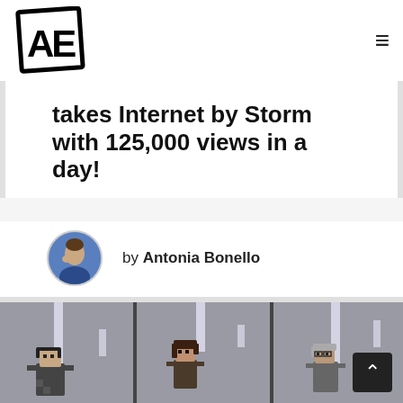AE logo and navigation
takes Internet by Storm with 125,000 views in a day!
by Antonia Bonello
[Figure (illustration): Pixel art illustration of three 8-bit video game style characters standing in a locker room or elevator setting with grey panels and light strips. Characters include a person with headphones on the left, a brunette in the middle, and a grey-haired person on the right.]